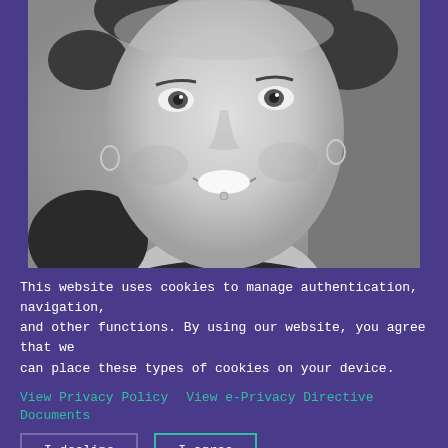[Figure (photo): Black and white close-up photograph of a smiling young woman with hoop earrings and a lip piercing, shown from slightly above, wearing a dark top, with short dark hair.]
This website uses cookies to manage authentication, navigation, and other functions. By using our website, you agree that we can place these types of cookies on your device.
View Privacy Policy   View e-Privacy Directive Documents
I decline    I agree